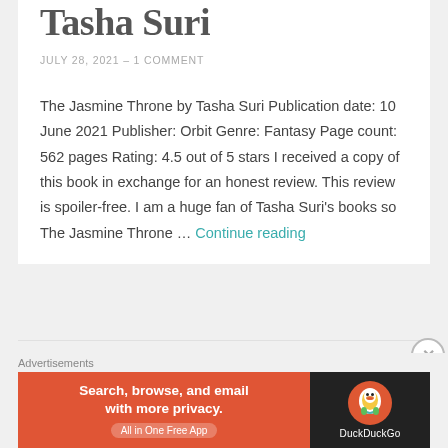Tasha Suri
JULY 28, 2021  –  1 COMMENT
The Jasmine Throne by Tasha Suri Publication date: 10 June 2021 Publisher: Orbit Genre: Fantasy Page count: 562 pages Rating: 4.5 out of 5 stars I received a copy of this book in exchange for an honest review. This review is spoiler-free. I am a huge fan of Tasha Suri's books so The Jasmine Throne … Continue reading
Blog Tour: Winterkeep
Advertisements
[Figure (screenshot): DuckDuckGo advertisement banner: orange left section with text 'Search, browse, and email with more privacy. All in One Free App' and dark right section with DuckDuckGo duck logo and brand name.]